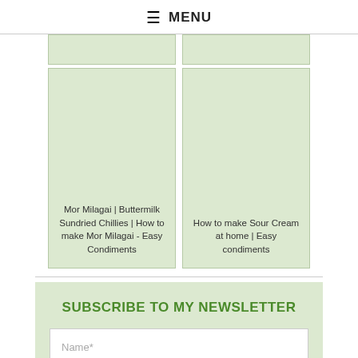≡ MENU
[Figure (illustration): Top partial green card strip (two cards, clipped at top)]
[Figure (illustration): Left card with light green placeholder image area]
Mor Milagai | Buttermilk Sundried Chillies | How to make Mor Milagai - Easy Condiments
[Figure (illustration): Right card with light green placeholder image area]
How to make Sour Cream at home | Easy condiments
SUBSCRIBE TO MY NEWSLETTER
Name*